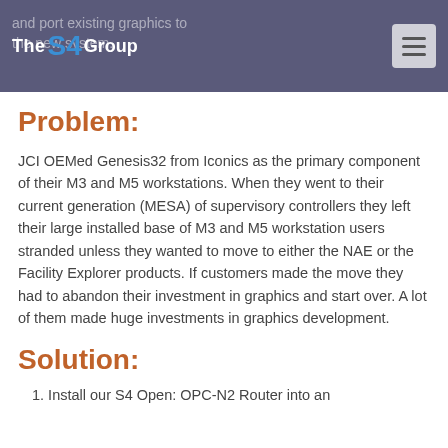The S4 Group — and port existing graphics to the new system.
Problem:
JCI OEMed Genesis32 from Iconics as the primary component of their M3 and M5 workstations. When they went to their current generation (MESA) of supervisory controllers they left their large installed base of M3 and M5 workstation users stranded unless they wanted to move to either the NAE or the Facility Explorer products. If customers made the move they had to abandon their investment in graphics and start over. A lot of them made huge investments in graphics development.
Solution:
1. Install our S4 Open: OPC-N2 Router into an